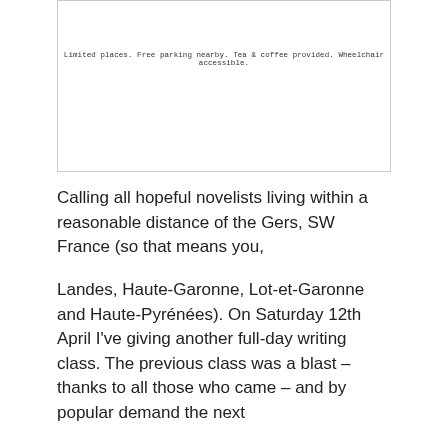Limited places. Free parking nearby. Tea & coffee provided. Wheelchair accessible.
Calling all hopeful novelists living within a reasonable distance of the Gers, SW France (so that means you,
Landes, Haute-Garonne, Lot-et-Garonne and Haute-Pyrénées). On Saturday 12th April I've giving another full-day writing class. The previous class was a blast – thanks to all those who came – and by popular demand the next
class will focus on writing fiction, specifically, creating memorable characters.
We'll be looking at character physique, names, motivation, personality and what I like to call character